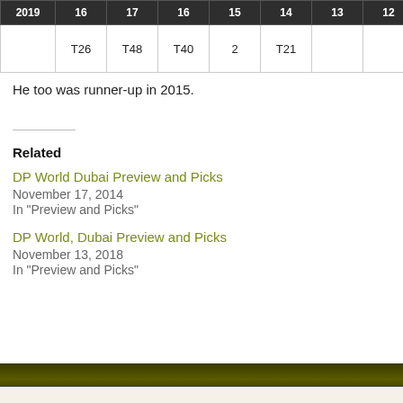| 2019 | 16 | 17 | 16 | 15 | 14 | 13 | 12 |
| --- | --- | --- | --- | --- | --- | --- | --- |
|  | T26 | T48 | T40 | 2 | T21 |  |  |
He too was runner-up in 2015.
Related
DP World Dubai Preview and Picks
November 17, 2014
In "Preview and Picks"
DP World, Dubai Preview and Picks
November 13, 2018
In "Preview and Picks"